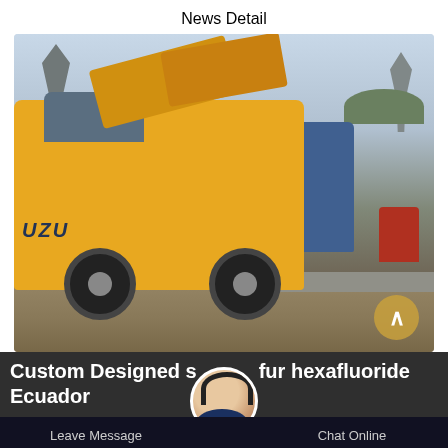News Detail
[Figure (photo): Yellow Isuzu truck with raised roof panels parked near railway tracks and electrical pylons, with blue tarp-covered equipment on the back and a red truck visible in the background]
Custom Designed sulfur hexafluoride Ecuador
Leave Message   Chat Online